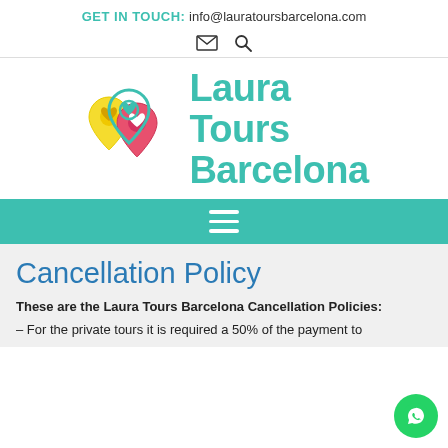GET IN TOUCH: info@lauratoursbarcelona.com
[Figure (logo): Laura Tours Barcelona logo with three overlapping map pins (teal, yellow, pink) each containing a heart, and the text 'Laura Tours Barcelona' in teal]
[Figure (other): Navigation bar with hamburger menu icon (three horizontal lines) on teal background]
Cancellation Policy
These are the Laura Tours Barcelona Cancellation Policies:
– For the private tours it is required a 50% of the payment to confirm the booking.